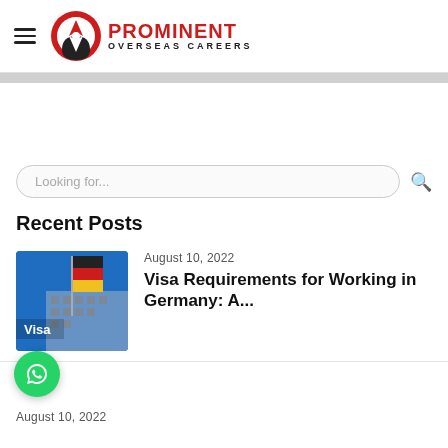Prominent Overseas Careers
Recent Posts
[Figure (photo): Thumbnail image of German flag and a building with 'Visa' label overlay]
August 10, 2022
Visa Requirements for Working in Germany: A...
August 10, 2022